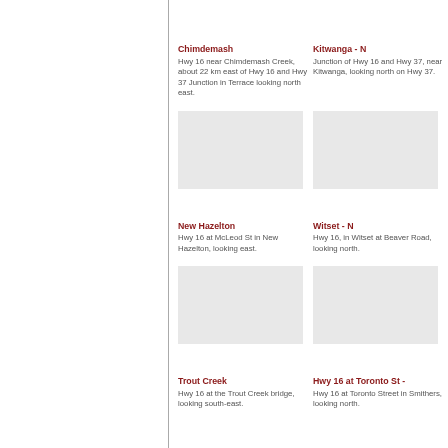Chimdemash
Hwy 16 near Chimdemash Creek, about 22 km east of Hwy 16 and Hwy 37 Junction in Terrace looking north east.
Kitwanga - N
Junction of Hwy 16 and Hwy 37, near Kitwanga, looking north on Hwy 37.
[Figure (photo): Road camera image placeholder for Chimdemash]
[Figure (photo): Road camera image placeholder for Kitwanga - N]
New Hazelton
Hwy 16 at McLeod St in New Hazelton, looking east.
Witset - N
Hwy 16, in Witset at Beaver Road, looking north.
[Figure (photo): Road camera image placeholder for New Hazelton]
[Figure (photo): Road camera image placeholder for Witset - N]
Trout Creek
Hwy 16 at the Trout Creek bridge, looking south-east.
Hwy 16 at Toronto St -
Hwy 16 at Toronto Street in Smithers, looking north.